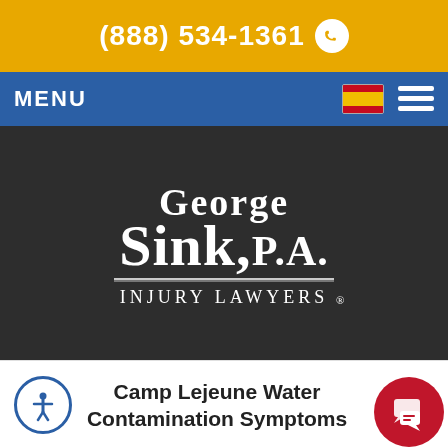(888) 534-1361
MENU
[Figure (logo): George Sink, P.A. Injury Lawyers logo in white text on dark background]
Camp Lejeune Water Contamination Symptoms